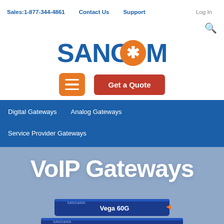Sales:1-877-344-4861   Contact Us   Support   Log In
[Figure (logo): Sangoma logo with orange speech bubble containing asterisk]
[Figure (infographic): Orange hamburger menu button and red Get a Quote button]
Digital Gateways
Analog Gateways
Service Provider Gateways
VoIP Gateways
[Figure (photo): Two stacked Sangoma Vega VoIP gateway hardware devices in blue/black chassis]